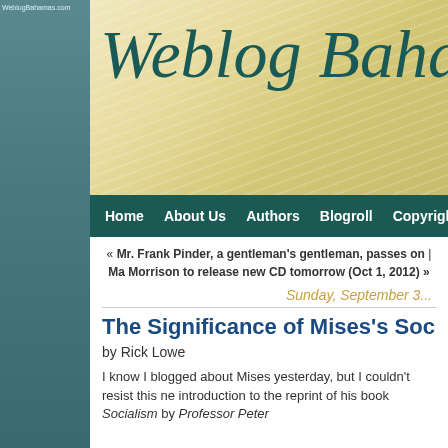WeblogBahamas.com
[Figure (logo): Weblog Bahamas cursive logo on a gold/cream striped banner background]
Home | About Us | Authors | Blogroll | Copyright | Contact
« Mr. Frank Pinder, a gentleman's gentleman, passes on | Ma Morrison to release new CD tomorrow (Oct 1, 2012) »
Sunday, September 3...
The Significance of Mises's Sociali...
by Rick Lowe
I know I blogged about Mises yesterday, but I couldn't resist this new introduction to the reprint of his book Socialism by Professor Peter ...